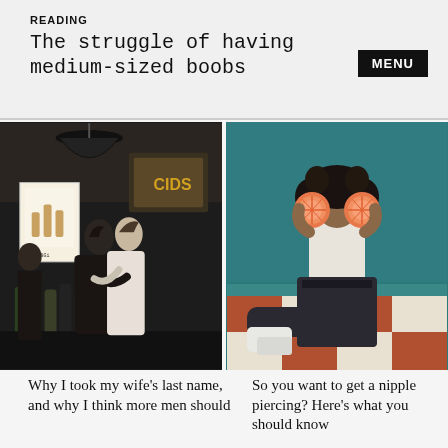READING
The struggle of having medium-sized boobs
MENU
[Figure (photo): A couple kissing in a dimly lit restaurant or bar setting, with wine bottles visible in the background and a pendant lamp overhead.]
[Figure (photo): A young woman with curly hair sitting on a checkered floor against a teal wall, holding two halved grapefruits over her eyes.]
Why I took my wife’s last name, and why I think more men should
So you want to get a nipple piercing? Here’s what you should know